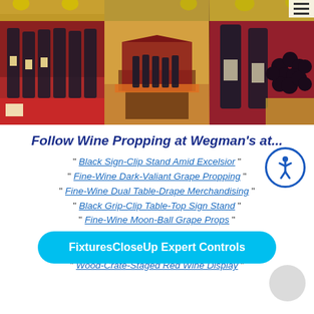[Figure (photo): Grid of 6 wine store photos: top row partially visible, bottom row shows wine bottles on red tablecloth, wine display with drape merchandising, and wine bottles with dark grapes]
Follow Wine Propping at Wegman's at...
" Black Sign-Clip Stand Amid Excelsior "
" Fine-Wine Dark-Valiant Grape Propping "
" Fine-Wine Dual Table-Drape Merchandising "
" Black Grip-Clip Table-Top Sign Stand "
" Fine-Wine Moon-Ball Grape Props "
" Fine-Wine Ta... "
" White W... "
" Wood-Crate-Staged Red Wine Display "